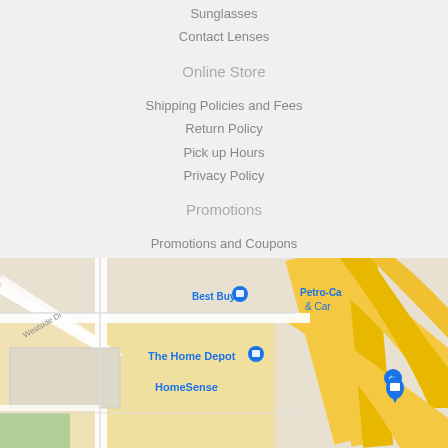Sunglasses
Contact Lenses
Online Store
Shipping Policies and Fees
Return Policy
Pick up Hours
Privacy Policy
Promotions
Promotions and Coupons
Newsletter
Facebook
[Figure (map): Google Maps street map showing HomeSense, Best Buy, The Home Depot, and Petro-Canada & Car wash locations near Westside Dr]